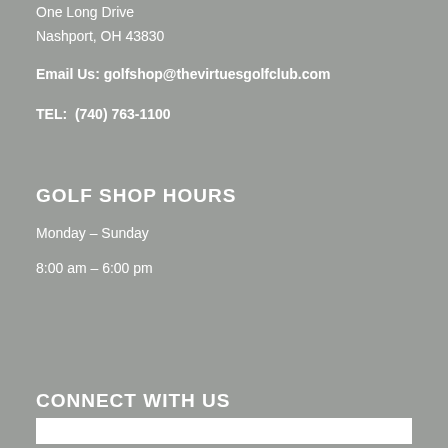One Long Drive
Nashport, OH 43830
Email Us: golfshop@thevirtuesgolfclub.com
TEL:  (740) 763-1100
GOLF SHOP HOURS
Monday – Sunday
8:00 am – 6:00 pm
CONNECT WITH US